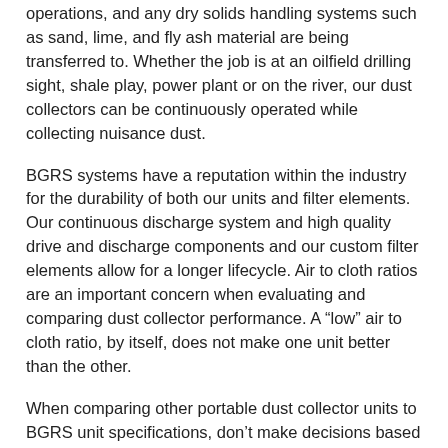operations, and any dry solids handling systems such as sand, lime, and fly ash material are being transferred to. Whether the job is at an oilfield drilling sight, shale play, power plant or on the river, our dust collectors can be continuously operated while collecting nuisance dust.
BGRS systems have a reputation within the industry for the durability of both our units and filter elements. Our continuous discharge system and high quality drive and discharge components and our custom filter elements allow for a longer lifecycle. Air to cloth ratios are an important concern when evaluating and comparing dust collector performance. A “low” air to cloth ratio, by itself, does not make one unit better than the other.
When comparing other portable dust collector units to BGRS unit specifications, don’t make decisions based on air to cloth ratios alone. Many other brand portable dust collector units use a filter cartridge that was originally designed for use in relatively clean air environments. They